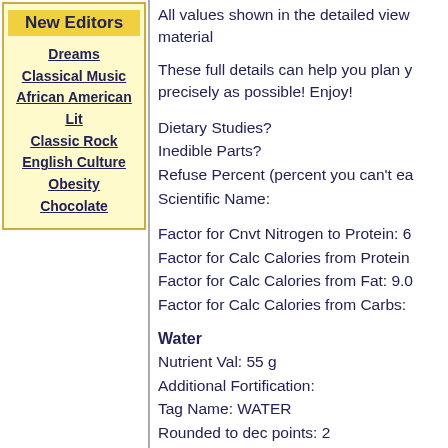New Editors
Dreams
Classical Music
African American Lit
Classic Rock
English Culture
Obesity
Chocolate
All values shown in the detailed view material
These full details can help you plan y precisely as possible! Enjoy!
Dietary Studies?
Inedible Parts?
Refuse Percent (percent you can't ea
Scientific Name:
Factor for Cnvt Nitrogen to Protein: 6
Factor for Calc Calories from Protein
Factor for Calc Calories from Fat: 9.0
Factor for Calc Calories from Carbs:
Water
Nutrient Val: 55 g
Additional Fortification:
Tag Name: WATER
Rounded to dec points: 2
Energy
Nutrient Val: 209 kcal